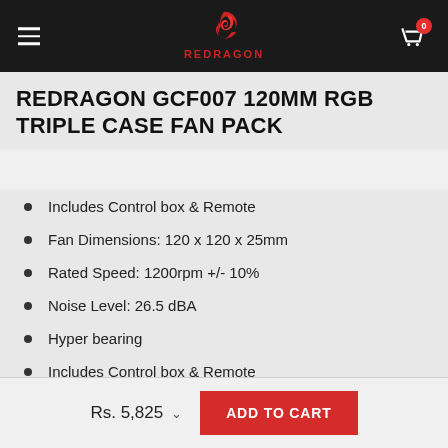REDRAGON (logo with navigation and cart)
REDRAGON GCF007 120MM RGB TRIPLE CASE FAN PACK
Includes Control box & Remote
Fan Dimensions: 120 x 120 x 25mm
Rated Speed: 1200rpm +/- 10%
Noise Level: 26.5 dBA
Hyper bearing
Includes Control box & Remote
Rs. 5,825
ADD TO CART